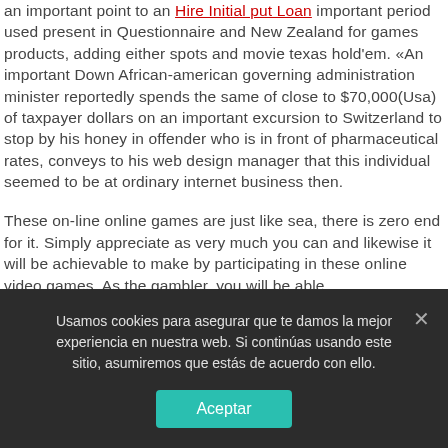an important point to an Hire Initial put Loan important period used present in Questionnaire and New Zealand for games products, adding either spots and movie texas hold'em. «An important Down African-american governing administration minister reportedly spends the same of close to $70,000(Usa) of taxpayer dollars on an important excursion to Switzerland to stop by his honey in offender who is in front of pharmaceutical rates, conveys to his web design manager that this individual seemed to be at ordinary internet business then.
These on-line online games are just like sea, there is zero end for it. Simply appreciate as very much you can and likewise it will be achievable to make by participating in these online video games. As the gambler, you will be able
Usamos cookies para asegurar que te damos la mejor experiencia en nuestra web. Si continúas usando este sitio, asumiremos que estás de acuerdo con ello.